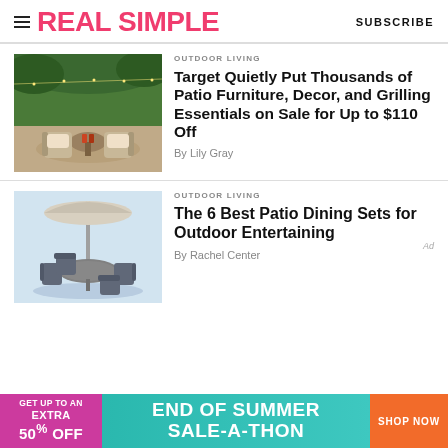REAL SIMPLE | SUBSCRIBE
OUTDOOR LIVING
[Figure (photo): Outdoor patio with wicker chairs, cushions, and a round side table in a garden setting]
Target Quietly Put Thousands of Patio Furniture, Decor, and Grilling Essentials on Sale for Up to $110 Off
By Lily Gray
OUTDOOR LIVING
[Figure (photo): Round patio dining set with chairs and a market umbrella on a light blue background]
The 6 Best Patio Dining Sets for Outdoor Entertaining
By Rachel Center
[Figure (infographic): Ad banner: GET UP TO AN EXTRA 50% OFF | END OF SUMMER SALE-A-THON | SHOP NOW]